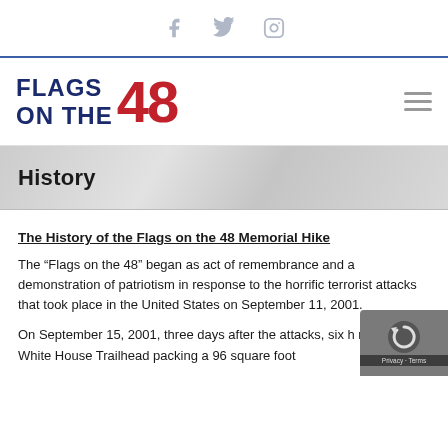Social icons: Facebook, Twitter, Instagram
[Figure (logo): Flags on the 48 logo with navy text and red 48]
History
The History of the Flags on the 48 Memorial Hike
The “Flags on the 48” began as act of remembrance and a demonstration of patriotism in response to the horrific terrorist attacks that took place in the United States on September 11, 2001.
On September 15, 2001, three days after the attacks, six h met at the White House Trailhead packing a 96 square foot